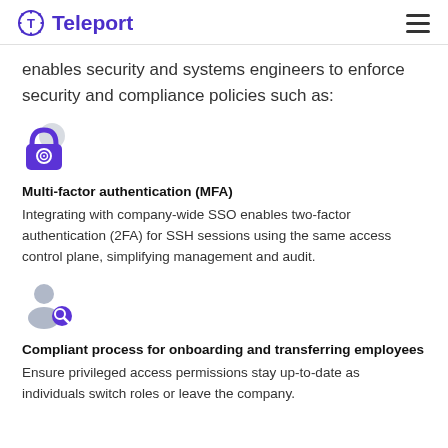Teleport
enables security and systems engineers to enforce security and compliance policies such as:
[Figure (illustration): Purple lock icon with fingerprint symbol and a grey circular badge overlay]
Multi-factor authentication (MFA)
Integrating with company-wide SSO enables two-factor authentication (2FA) for SSH sessions using the same access control plane, simplifying management and audit.
[Figure (illustration): Grey person/user icon with a purple search/magnifier badge overlay]
Compliant process for onboarding and transferring employees
Ensure privileged access permissions stay up-to-date as individuals switch roles or leave the company.